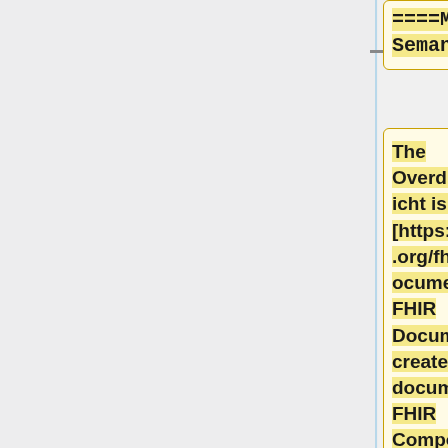====Message Semantics====
The Overdrachtsbericht is sent as a [https://www.hl7.org/fhir/STU3/documents.html FHIR Document]. To create this document, a FHIR Composition resource should be created according to the [https://simplifier.net/resolve?target=simplifie